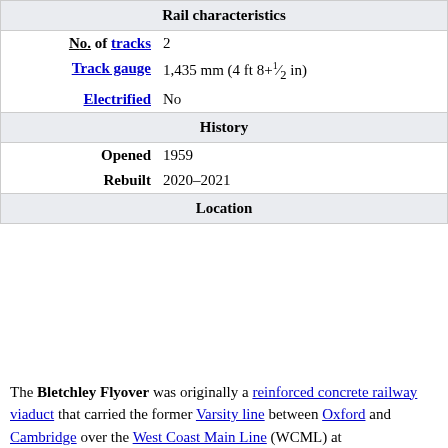|  |  |
| --- | --- |
| Rail characteristics |  |
| No. of tracks | 2 |
| Track gauge | 1,435 mm (4 ft 8+1⁄2 in) |
| Electrified | No |
| History |  |
| Opened | 1959 |
| Rebuilt | 2020–2021 |
| Location |  |
The Bletchley Flyover was originally a reinforced concrete railway viaduct that carried the former Varsity line between Oxford and Cambridge over the West Coast Main Line (WCML) at